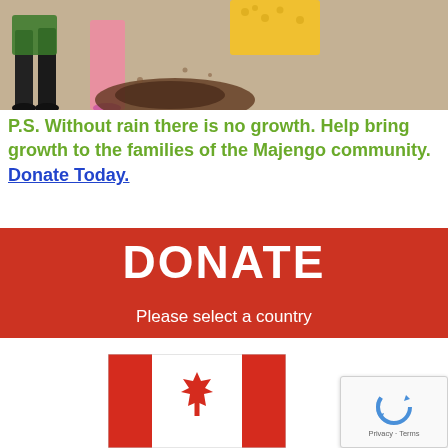[Figure (photo): Photo of children digging in the dirt/sand, partially cropped at top. One child wears a green outfit, another in pink, and another in yellow dotted fabric.]
P.S. Without rain there is no growth. Help bring growth to the families of the Majengo community. Donate Today.
DONATE
Please select a country
[Figure (illustration): Canadian flag (red and white with maple leaf)]
[Figure (other): reCAPTCHA badge with Privacy and Terms links]